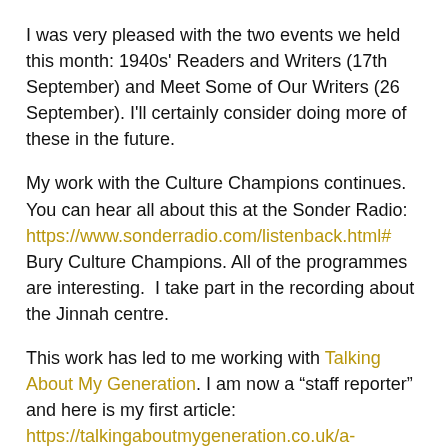I was very pleased with the two events we held this month: 1940s' Readers and Writers (17th September) and Meet Some of Our Writers (26 September). I'll certainly consider doing more of these in the future.
My work with the Culture Champions continues. You can hear all about this at the Sonder Radio: https://www.sonderradio.com/listenback.html# Bury Culture Champions. All of the programmes are interesting.  I take part in the recording about the Jinnah centre.
This work has led to me working with Talking About My Generation. I am now a "staff reporter" and here is my first article: https://talkingaboutmygeneration.co.uk/a-midsummer-nights-zoom/  Part of the rationale behind this web site is that idea that older people have something of value to offer.
News about my writing and other creative projects